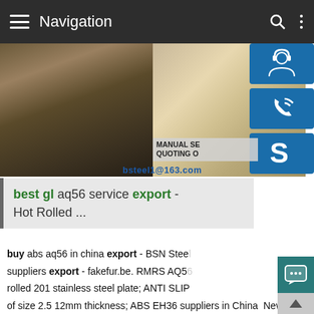Navigation
[Figure (photo): Steel plate close-up image on the left, customer service woman with headset on the right, with blue icon buttons for chat, phone, and Skype on the far right, and text overlay showing MANUAL SERVICE, QUOTING O..., bsteel1@163.com]
best gl aq56 service export - Hot Rolled ...
buy abs aq56 in china export - BSN Steel suppliers export - fakefur.be. RMRS AQ56 rolled 201 stainless steel plate; ANTI SLIP of size 2.5 12mm thickness; ABS EH36 suppliers in China  News. buy RINA AH40 export; Best GL EQ63 application; Best DNV AQ56 mechanical property; BV AQ70 price export; China supply cold rolled …sp.infoGL AQ56 steel plate China Buy A36 Steel Online Best price rmrs aq56 price in china,carbon steel plate … aq56 steel plate Steel Plate Factory loca centre.be RMRS AQ5